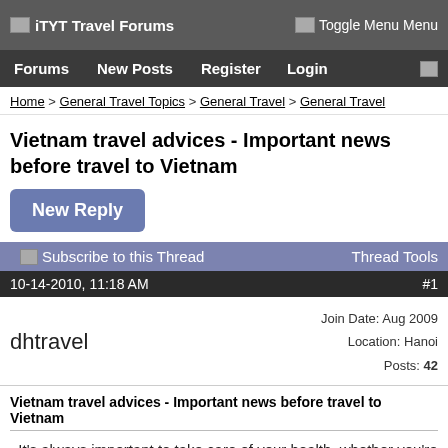iTYT Travel Forums | Toggle Menu Menu
Forums | New Posts | Register | Login
Home > General Travel Topics > General Travel > General Travel
Vietnam travel advices - Important news before travel to Vietnam
New Reply
Subscribe to this Thread   Thread Tools
10-14-2010, 11:18 AM   #1
dhtravel   Join Date: Aug 2009   Location: Hanoi   Posts: 42
Vietnam travel advices - Important news before travel to Vietnam
It's always important to take care of your health, whether you're at home or on the road, but there are some additional concerns that are important to keep in mind when you're traveling.